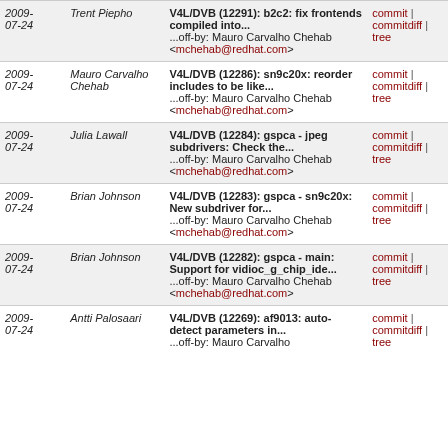| Date | Author | Commit | Links |
| --- | --- | --- | --- |
| 2009-07-24 | Trent Piepho | V4L/DVB (12291): b2c2: fix frontends compiled into...
...off-by: Mauro Carvalho Chehab <mchehab@redhat.com> | commit | commitdiff | tree |
| 2009-07-24 | Mauro Carvalho Chehab | V4L/DVB (12286): sn9c20x: reorder includes to be like...
...off-by: Mauro Carvalho Chehab <mchehab@redhat.com> | commit | commitdiff | tree |
| 2009-07-24 | Julia Lawall | V4L/DVB (12284): gspca - jpeg subdrivers: Check the...
...off-by: Mauro Carvalho Chehab <mchehab@redhat.com> | commit | commitdiff | tree |
| 2009-07-24 | Brian Johnson | V4L/DVB (12283): gspca - sn9c20x: New subdriver for...
...off-by: Mauro Carvalho Chehab <mchehab@redhat.com> | commit | commitdiff | tree |
| 2009-07-24 | Brian Johnson | V4L/DVB (12282): gspca - main: Support for vidioc_g_chip_ide...
...off-by: Mauro Carvalho Chehab <mchehab@redhat.com> | commit | commitdiff | tree |
| 2009-07-24 | Antti Palosaari | V4L/DVB (12269): af9013: auto-detect parameters in...
...off-by: Mauro Carvalho | commit | commitdiff | tree |